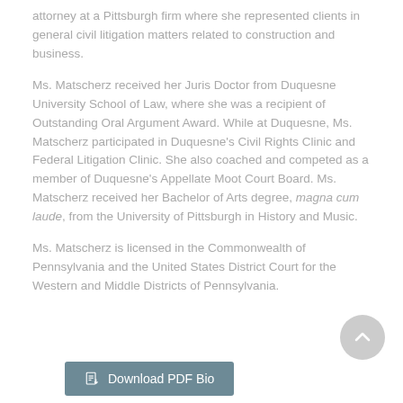attorney at a Pittsburgh firm where she represented clients in general civil litigation matters related to construction and business.
Ms. Matscherz received her Juris Doctor from Duquesne University School of Law, where she was a recipient of Outstanding Oral Argument Award. While at Duquesne, Ms. Matscherz participated in Duquesne's Civil Rights Clinic and Federal Litigation Clinic. She also coached and competed as a member of Duquesne's Appellate Moot Court Board. Ms. Matscherz received her Bachelor of Arts degree, magna cum laude, from the University of Pittsburgh in History and Music.
Ms. Matscherz is licensed in the Commonwealth of Pennsylvania and the United States District Court for the Western and Middle Districts of Pennsylvania.
[Figure (other): Download PDF Bio button with document icon]